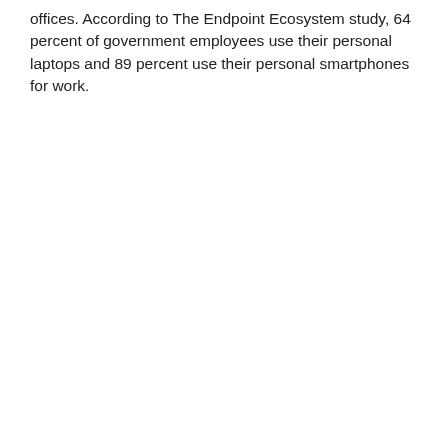offices. According to The Endpoint Ecosystem study, 64 percent of government employees use their personal laptops and 89 percent use their personal smartphones for work.